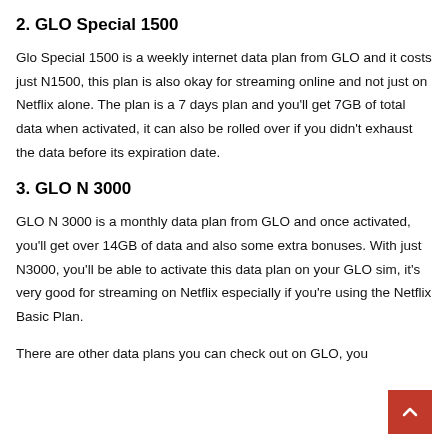2. GLO Special 1500
Glo Special 1500 is a weekly internet data plan from GLO and it costs just N1500, this plan is also okay for streaming online and not just on Netflix alone. The plan is a 7 days plan and you'll get 7GB of total data when activated, it can also be rolled over if you didn't exhaust the data before its expiration date.
3. GLO N 3000
GLO N 3000 is a monthly data plan from GLO and once activated, you'll get over 14GB of data and also some extra bonuses. With just N3000, you'll be able to activate this data plan on your GLO sim, it's very good for streaming on Netflix especially if you're using the Netflix Basic Plan.
There are other data plans you can check out on GLO, you